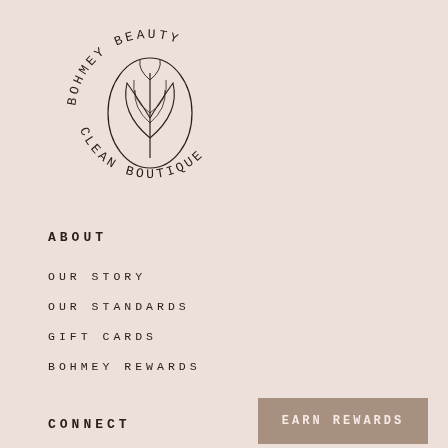[Figure (logo): Bohmey Beauty Clean Boutique circular logo with botanical leaf illustration in an oval frame]
ABOUT
OUR STORY
OUR STANDARDS
GIFT CARDS
BOHMEY REWARDS
CONNECT
EARN REWARDS